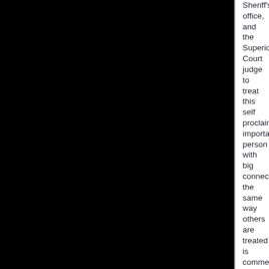Sheriff's office, and the Superior Court judge to treat this self proclaimed important person with big connections the same way others are treated is commendable.